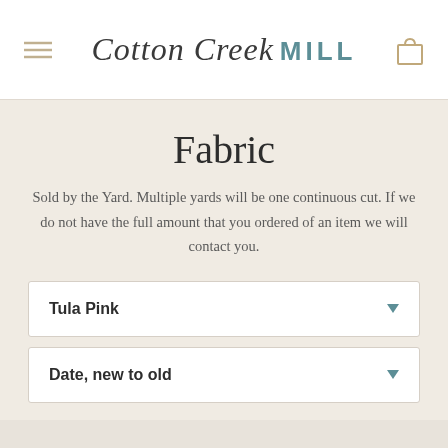Cotton Creek MILL
Fabric
Sold by the Yard. Multiple yards will be one continuous cut. If we do not have the full amount that you ordered of an item we will contact you.
Tula Pink
Date, new to old